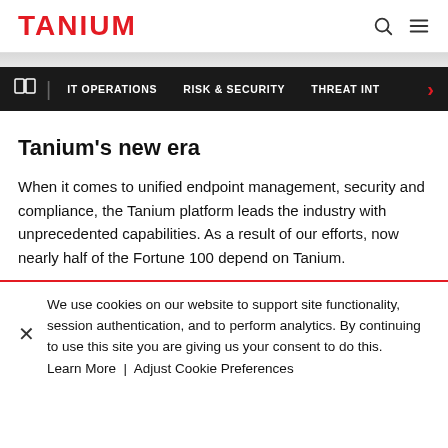TANIUM
IT OPERATIONS | RISK & SECURITY | THREAT INT >
Tanium's new era
When it comes to unified endpoint management, security and compliance, the Tanium platform leads the industry with unprecedented capabilities. As a result of our efforts, now nearly half of the Fortune 100 depend on Tanium.
We use cookies on our website to support site functionality, session authentication, and to perform analytics. By continuing to use this site you are giving us your consent to do this. Learn More | Adjust Cookie Preferences